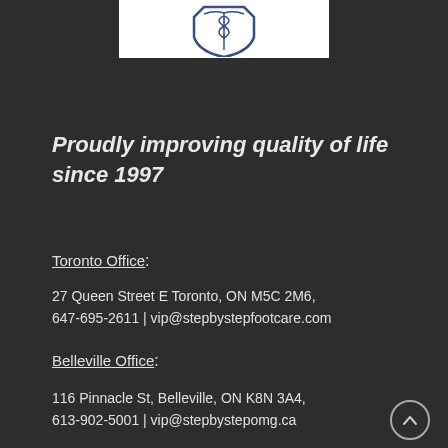[Figure (logo): Step by Step Footcare logo with caduceus/shield emblem on white background]
Proudly improving quality of life since 1997
Toronto Office:
27 Queen Street E Toronto, ON M5C 2M6, 647-695-2611 | vip@stepbystepfootcare.com
Belleville Office:
116 Pinnacle St, Belleville, ON K8N 3A4, 613-902-5001 | vip@stepbystepomg.ca